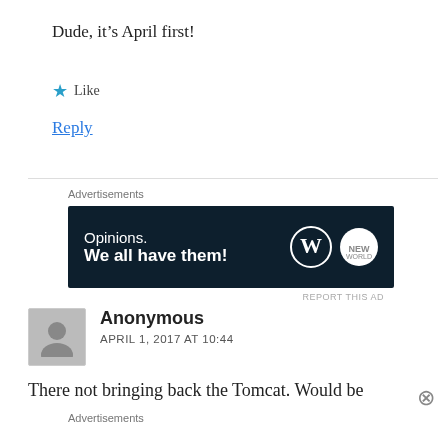Dude, it’s April first!
★ Like
Reply
[Figure (screenshot): WordPress advertisement banner: dark navy background with text 'Opinions. We all have them!' and WordPress logo on right]
REPORT THIS AD
Anonymous
APRIL 1, 2017 AT 10:44
There not bringing back the Tomcat. Would be
[Figure (screenshot): Ulta beauty advertisement banner with makeup imagery and SHOP NOW button]